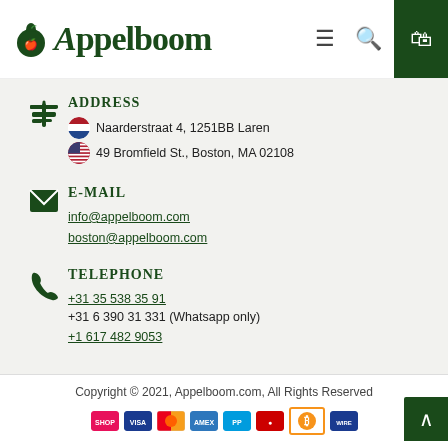Appelboom
Address
🇳🇱 Naarderstraat 4, 1251BB Laren
🇺🇸 49 Bromfield St., Boston, MA 02108
E-mail
info@appelboom.com
boston@appelboom.com
Telephone
+31 35 538 35 91
+31 6 390 31 331 (Whatsapp only)
+1 617 482 9053
Copyright © 2021, Appelboom.com, All Rights Reserved